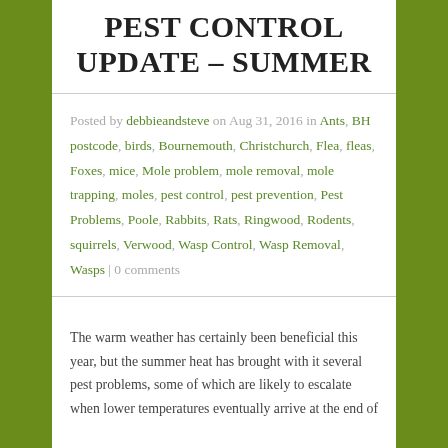PEST CONTROL UPDATE – SUMMER
Posted by debbieandsteve on Aug 31, 2016 in Ants, BH postcode, birds, Bournemouth, Christchurch, Flea, fleas, Foxes, mice, Mole problem, mole removal, mole trapping, moles, pest control, pest prevention, Pest Problems, Poole, Rabbits, Rats, Ringwood, Rodents, squirrels, Verwood, Wasp Control, Wasp Removal, Wasps | 0 comments
The warm weather has certainly been beneficial this year, but the summer heat has brought with it several pest problems, some of which are likely to escalate when lower temperatures eventually arrive at the end of